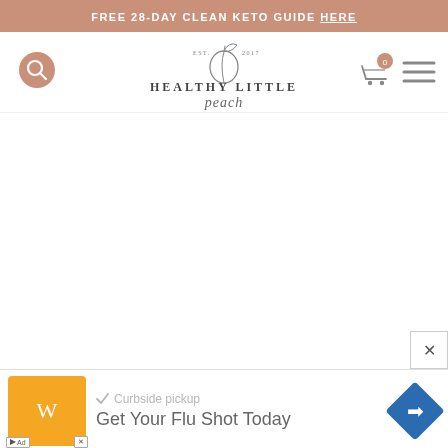FREE 28-DAY CLEAN KETO GUIDE HERE
[Figure (logo): Healthy Little Peach logo with peach illustration, EST. 2017, bold sans-serif and script text]
[Figure (screenshot): Advertisement bar at bottom: Curbside pickup checkmark, Get Your Flu Shot Today, with orange store icon and blue directional arrow]
× close button for ad